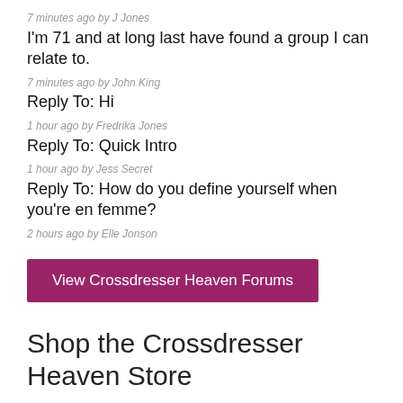7 minutes ago by J Jones
I'm 71 and at long last have found a group I can relate to.
7 minutes ago by John King
Reply To: Hi
1 hour ago by Fredrika Jones
Reply To: Quick Intro
1 hour ago by Jess Secret
Reply To: How do you define yourself when you're en femme?
2 hours ago by Elle Jonson
[Figure (other): Button: View Crossdresser Heaven Forums]
Shop the Crossdresser Heaven Store
We are excited to launch the Crossdresser Heaven store. A collaboration between Crossdresser Heaven and four leading retail providers serving the crossdresser and transgender community.
[Figure (other): Button: Shop the Store]